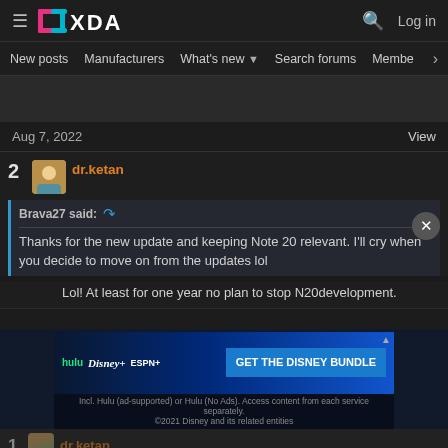XDA Forums navigation header with logo, search, and Log in
New posts  Manufacturers  What's new  Search forums  Membe  >
Aug 7, 2022    View
2  dr.ketan
Brava27 said:
Thanks for the new update and keeping Note 20 relevant. I'll cry when you decide to move on from the updates lol
Lol! At least for one year no plan to stop N20development.
[Figure (screenshot): Disney Bundle advertisement banner showing Hulu, Disney+, ESPN+ logos with text GET THE DISNEY BUNDLE]
1  dr.ketan